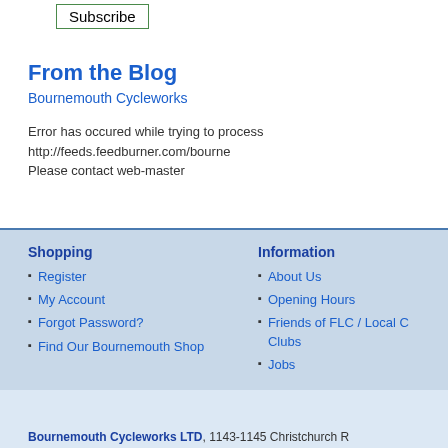Subscribe
From the Blog
Bournemouth Cycleworks
Error has occured while trying to process http://feeds.feedburner.com/bourne
Please contact web-master
Shopping
Register
My Account
Forgot Password?
Find Our Bournemouth Shop
Information
About Us
Opening Hours
Friends of FLC / Local C Clubs
Jobs
Bournemouth Cycleworks LTD, 1143-1145 Christchurch R